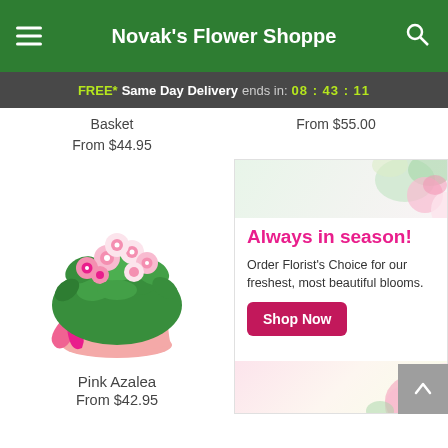Novak's Flower Shoppe
FREE* Same Day Delivery ends in: 08 : 43 : 11
Basket
From $44.95
From $55.00
[Figure (photo): Pink azalea plant in a peach pot with a bright pink bow ribbon]
Pink Azalea
From $42.95
[Figure (infographic): Always in season! Order Florist's Choice for our freshest, most beautiful blooms. Shop Now button with flower imagery.]